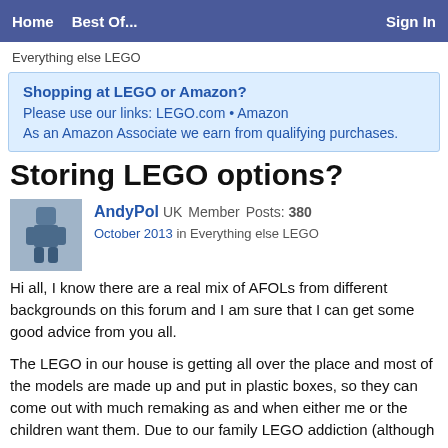Home   Best Of...   Sign In
Everything else LEGO
Shopping at LEGO or Amazon?
Please use our links: LEGO.com • Amazon
As an Amazon Associate we earn from qualifying purchases.
Storing LEGO options?
AndyPol UK Member Posts: 380
October 2013 in Everything else LEGO
Hi all, I know there are a real mix of AFOLs from different backgrounds on this forum and I am sure that I can get some good advice from you all.
The LEGO in our house is getting all over the place and most of the models are made up and put in plastic boxes, so they can come out with much remaking as and when either me or the children want them. Due to our family LEGO addiction (although